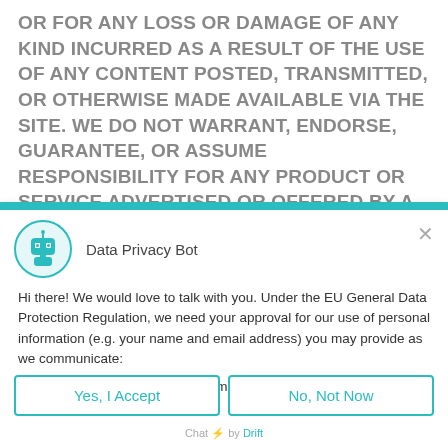OR FOR ANY LOSS OR DAMAGE OF ANY KIND INCURRED AS A RESULT OF THE USE OF ANY CONTENT POSTED, TRANSMITTED, OR OTHERWISE MADE AVAILABLE VIA THE SITE. WE DO NOT WARRANT, ENDORSE, GUARANTEE, OR ASSUME RESPONSIBILITY FOR ANY PRODUCT OR SERVICE ADVERTISED OR OFFERED BY A THIRD PARTY THROUGH THE SITE, ANY HYPERLINKED WEBSITE, OR ANY WEBSITE OR MOBILE APPLICATION FEATURED IN ANY BANNER OR OTHER
[Figure (screenshot): Data Privacy Bot chat widget with teal header bar, robot icon, accept/decline buttons]
Data Privacy Bot
Hi there! We would love to talk with you. Under the EU General Data Protection Regulation, we need your approval for our use of personal information (e.g. your name and email address) you may provide as we communicate:
(1) We'll store your personal information so that we can pick up the conversation at any time.
Yes, I Accept
No, Not Now
Chat ⚡ by Drift